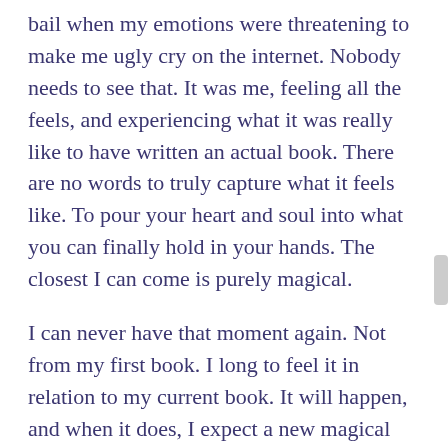bail when my emotions were threatening to make me ugly cry on the internet. Nobody needs to see that. It was me, feeling all the feels, and experiencing what it was really like to have written an actual book. There are no words to truly capture what it feels like. To pour your heart and soul into what you can finally hold in your hands. The closest I can come is purely magical.
I can never have that moment again. Not from my first book. I long to feel it in relation to my current book. It will happen, and when it does, I expect a new magical moment to accompany it.